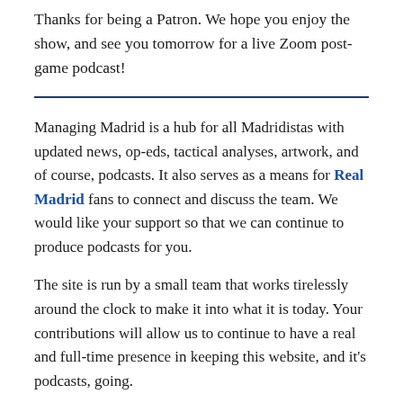Thanks for being a Patron. We hope you enjoy the show, and see you tomorrow for a live Zoom post-game podcast!
Managing Madrid is a hub for all Madridistas with updated news, op-eds, tactical analyses, artwork, and of course, podcasts. It also serves as a means for Real Madrid fans to connect and discuss the team. We would like your support so that we can continue to produce podcasts for you.
The site is run by a small team that works tirelessly around the clock to make it into what it is today. Your contributions will allow us to continue to have a real and full-time presence in keeping this website, and it's podcasts, going.